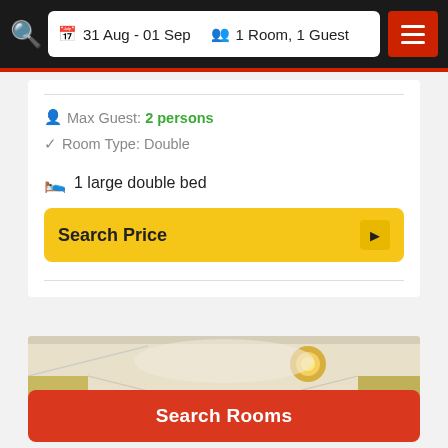31 Aug - 01 Sep  1 Room, 1 Guest
Max Guest: 2 persons
Room Type: Double
1 large double bed
Search Price
[Figure (photo): Interior hotel room photo showing ceiling with lights and yellowish walls]
Search Rooms